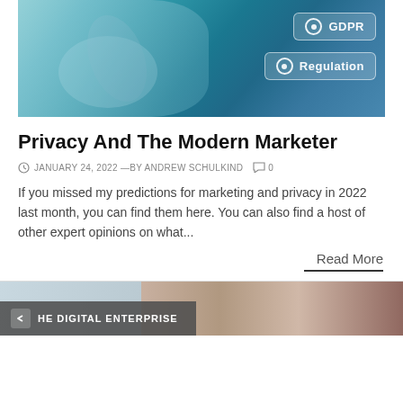[Figure (photo): Person pointing at digital interface with GDPR and Regulation labeled radio buttons on a teal/blue background]
Privacy And The Modern Marketer
JANUARY 24, 2022 —BY ANDREW SCHULKIND  0
If you missed my predictions for marketing and privacy in 2022 last month, you can find them here. You can also find a host of other expert opinions on what...
Read More
[Figure (photo): Bottom strip showing book/publication image on left and blurred office/meeting room on right with 'HE DIGITAL ENTERPRISE' badge overlay]